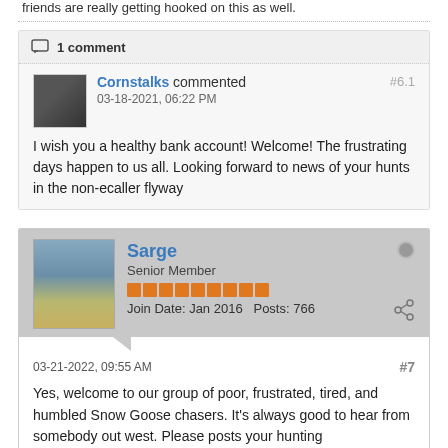friends are really getting hooked on this as well.
1 comment
Cornstalks commented
03-18-2021, 06:22 PM
#6.1
I wish you a healthy bank account! Welcome! The frustrating days happen to us all. Looking forward to news of your hunts in the non-ecaller flyway
Sarge
Senior Member
Join Date: Jan 2016   Posts: 766
03-21-2022, 09:55 AM
#7
Yes, welcome to our group of poor, frustrated, tired, and humbled Snow Goose chasers. It's always good to hear from somebody out west. Please posts your hunting stories/pictures.